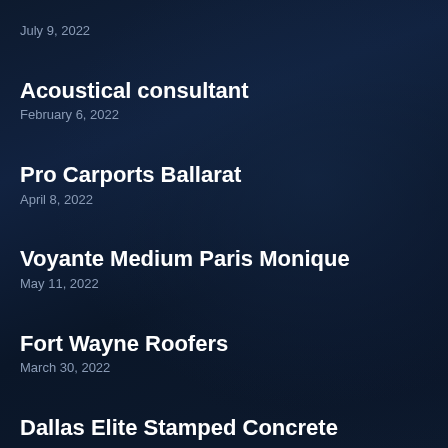July 9, 2022
Acoustical consultant
February 6, 2022
Pro Carports Ballarat
April 8, 2022
Voyante Medium Paris Monique
May 11, 2022
Fort Wayne Roofers
March 30, 2022
Dallas Elite Stamped Concrete